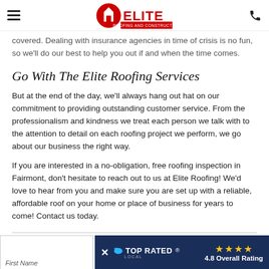Elite Roofing and Construction — navigation header
covered. Dealing with insurance agencies in time of crisis is no fun, so we'll do our best to help you out if and when the time comes.
Go With The Elite Roofing Services
But at the end of the day, we'll always hang out hat on our commitment to providing outstanding customer service. From the professionalism and kindness we treat each person we talk with to the attention to detail on each roofing project we perform, we go about our business the right way.
If you are interested in a no-obligation, free roofing inspection in Fairmont, don't hesitate to reach out to us at Elite Roofing! We'd love to hear from you and make sure you are set up with a reliable, affordable roof on your home or place of business for years to come! Contact us today.
[Figure (logo): Top Rated Local badge with 4.8 Overall Rating and star icons on dark blue background]